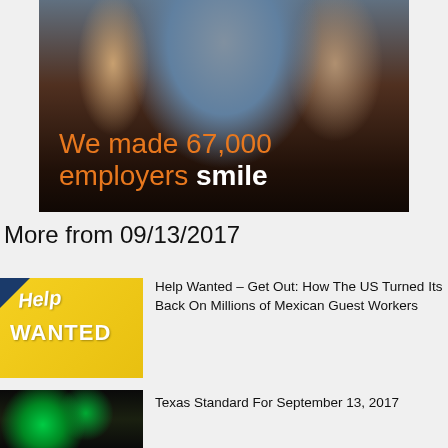[Figure (photo): Photo of people smiling in a warehouse/workplace setting, with overlay text 'We made 67,000 employers smile' in orange and white]
More from 09/13/2017
[Figure (photo): Help Wanted sign image with yellow background and dark blue corner]
Help Wanted – Get Out: How The US Turned Its Back On Millions of Mexican Guest Workers
[Figure (photo): Dark image with green glowing elements, appears to be gambling machines or electronic devices]
Texas Standard For September 13, 2017